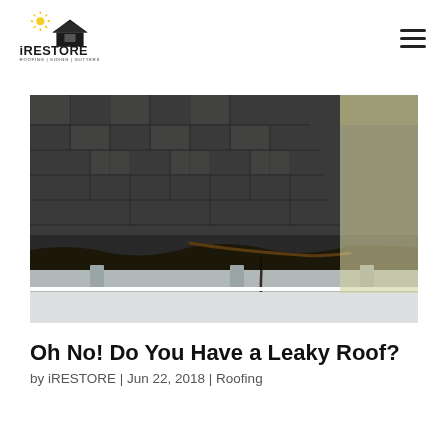[Figure (logo): iRESTORE logo with house icon and text ROOFING | SIDING | GUTTERS]
[Figure (photo): Close-up photo of a damaged roof showing worn asphalt shingles with a gutter system at the edge, revealing deterioration and potential leaking issues]
Oh No! Do You Have a Leaky Roof?
by iRESTORE | Jun 22, 2018 | Roofing